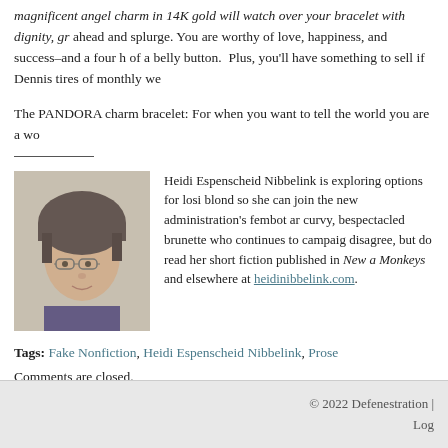magnificent angel charm in 14K gold will watch over your bracelet with dignity, gr ahead and splurge. You are worthy of love, happiness, and success–and a four h of a belly button.  Plus, you'll have something to sell if Dennis tires of monthly we
The PANDORA charm bracelet: For when you want to tell the world you are a wo
[Figure (photo): Portrait photo of Heidi Espenscheid Nibbelink, a woman wearing glasses and a dark knit hat, with short dark hair.]
Heidi Espenscheid Nibbelink is exploring options for losi blond so she can join the new administration's fembot ar curvy, bespectacled brunette who continues to campaig disagree, but do read her short fiction published in New a Monkeys and elsewhere at heidinibbelink.com.
Tags: Fake Nonfiction, Heidi Espenscheid Nibbelink, Prose
Comments are closed.
© 2022 Defenestration | Log